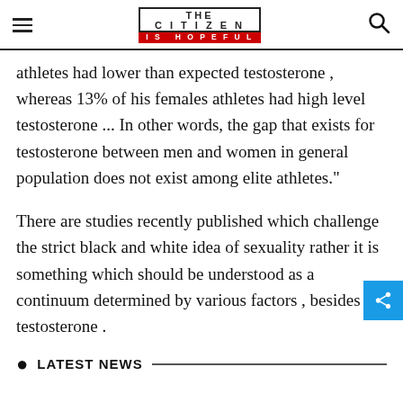THE CITIZEN IS HOPEFUL
athletes had lower than expected testosterone , whereas 13% of his females athletes had high level testosterone ... In other words, the gap that exists for testosterone between men and women in general population does not exist among elite athletes."
There are studies recently published which challenge the strict black and white idea of sexuality rather it is something which should be understood as a continuum determined by various factors , besides testosterone .
LATEST NEWS